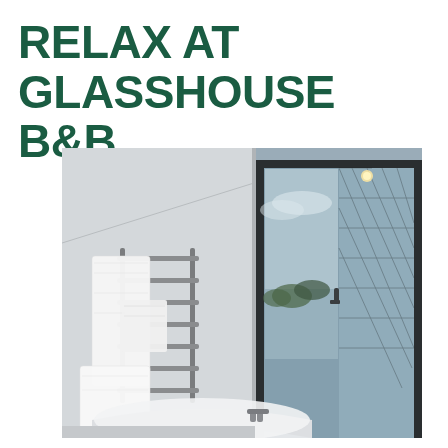RELAX AT GLASSHOUSE B&B
[Figure (photo): Interior bathroom photo of Glasshouse B&B showing white fluffy towels on a heated towel rail, a freestanding bathtub in the foreground, and large glass sliding doors opening to a scenic waterfront view with trees and cloudy sky. The room has white walls and a sloped ceiling with recessed lighting.]